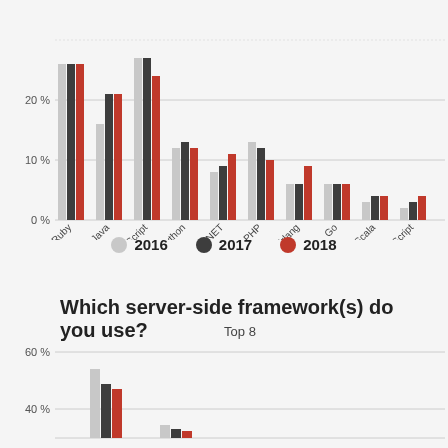[Figure (grouped-bar-chart): ]
[Figure (grouped-bar-chart): Which server-side framework(s) do you use?]